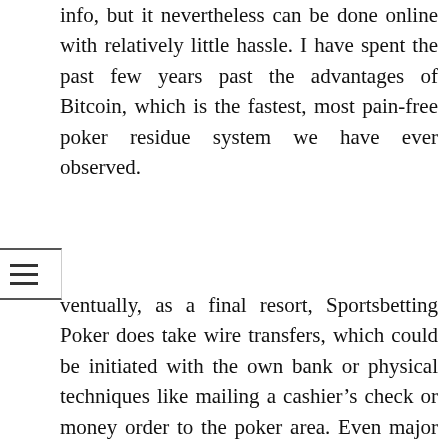info, but it nevertheless can be done online with relatively little hassle. I have spent the past few years past the advantages of Bitcoin, which is the fastest, most pain-free poker residue system we have ever observed.
Eventually, as a final resort, Sportsbetting Poker does take wire transfers, which could be initiated with the own bank or physical techniques like mailing a cashier's check or money order to the poker area. Even major credit cards are all accepted in Sportsbetting Poker at near a 100% speed with customer assistance, either by email or phone, to manually assist transactions in undergoing, if needed. The deposit fee is significantly greater than at bigger USA poker web sites like Bovada Poker. Together with more than Seventy-three property jobs and 198 lawful jobs are covering all around the amazingly built-up branch of three. Thirty-